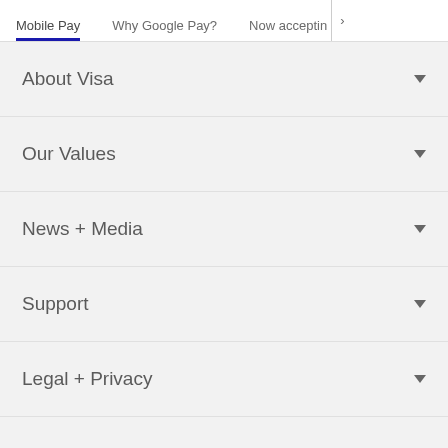Mobile Pay | Why Google Pay? | Now acceptin…
About Visa
Our Values
News + Media
Support
Legal + Privacy